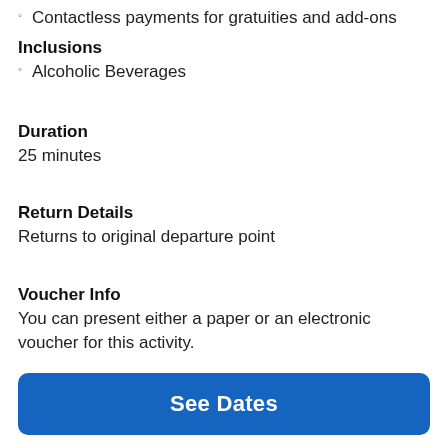Contactless payments for gratuities and add-ons
Inclusions
Alcoholic Beverages
Duration
25 minutes
Return Details
Returns to original departure point
Voucher Info
You can present either a paper or an electronic voucher for this activity.
The tour identified in this promotion is made available
See Dates